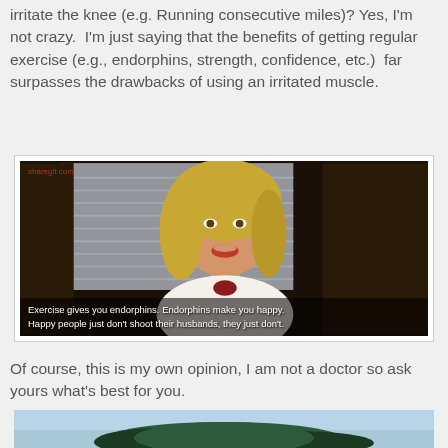irritate the knee (e.g. Running consecutive miles)? Yes, I'm not crazy.  I'm just saying that the benefits of getting regular exercise (e.g., endorphins, strength, confidence, etc.)  far surpasses the drawbacks of using an irritated muscle.
[Figure (photo): Movie still from Legally Blonde showing a blonde woman with red lipstick. Watermark 'sharegif.com' in top left. Subtitle text reads: 'Exercise gives you endorphins. Endorphins make you happy. Happy people just don't shoot their husbands, they just don't.']
Of course, this is my own opinion, I am not a doctor so ask yours what's best for you.
[Figure (photo): Partial outdoor scene showing sky and dark green treeline at the bottom of the page.]